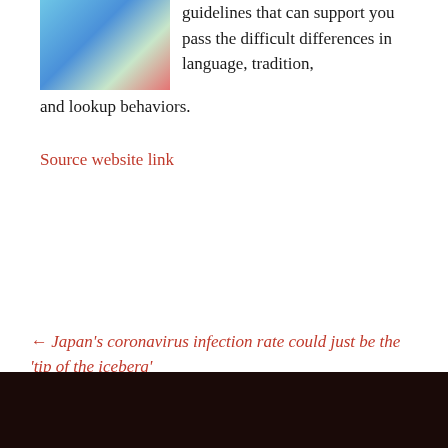[Figure (photo): Partial image of colorful flags or decorative items on a light blue background, cropped at top-left]
guidelines that can support you pass the difficult differences in language, tradition, and lookup behaviors.
Source website link
← Japan's coronavirus infection rate could just be the 'tip of the iceberg'
11 'International Women's Day' Shopping Initiatives to Get Behind →
Recent Posts